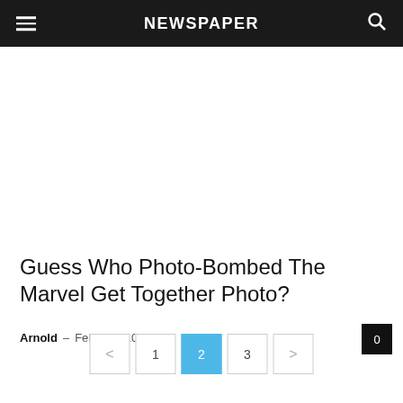NEWSPAPER
[Figure (other): Empty white advertisement placeholder area]
Guess Who Photo-Bombed The Marvel Get Together Photo?
Arnold – February 10, 2018
0